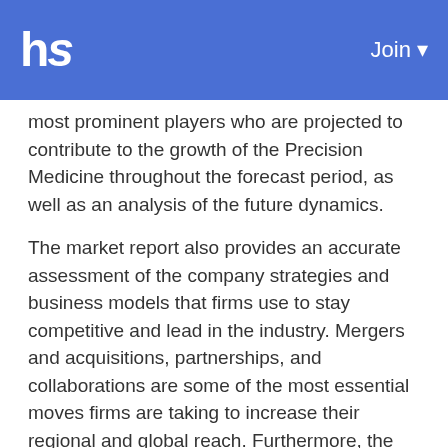hs  Join
most prominent players who are projected to contribute to the growth of the Precision Medicine throughout the forecast period, as well as an analysis of the future dynamics.
The market report also provides an accurate assessment of the company strategies and business models that firms use to stay competitive and lead in the industry. Mergers and acquisitions, partnerships, and collaborations are some of the most essential moves firms are taking to increase their regional and global reach. Furthermore, the players are releasing a new line of items to diversify their portfolio by incorporating cutting-edge technology into their operations.